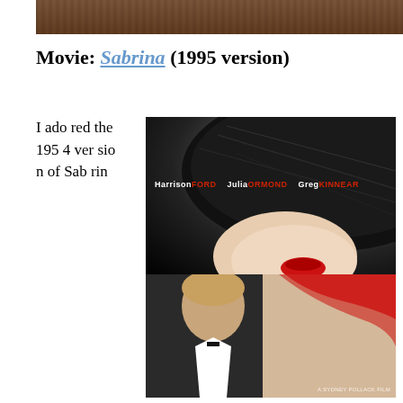[Figure (photo): Top strip image showing a wooden surface or table in warm brown tones]
Movie: Sabrina (1995 version)
I adored the 1954 version of Sabrin
[Figure (photo): Movie poster for Sabrina (1995) featuring a woman in a wide-brimmed black hat with red lips and a man in a tuxedo below, with credits: Harrison FORD  Julia ORMOND  Greg KINNEAR  A SYDNEY POLLACK film]